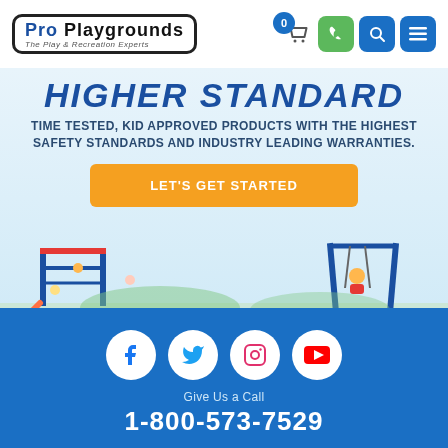[Figure (logo): Pro Playgrounds logo - 'The Play & Recreation Experts' with rounded rectangle border]
[Figure (infographic): Navigation icons: cart with badge 0, phone (green), search (blue), menu (blue)]
HIGHER STANDARD
TIME TESTED, KID APPROVED PRODUCTS WITH THE HIGHEST SAFETY STANDARDS AND INDUSTRY LEADING WARRANTIES.
[Figure (illustration): Orange CTA button: LET'S GET STARTED, with playground and children illustration below]
[Figure (infographic): Social media icons row: Facebook, Twitter, Instagram, YouTube - all white circles on blue background]
Give Us a Call
1-800-573-7529